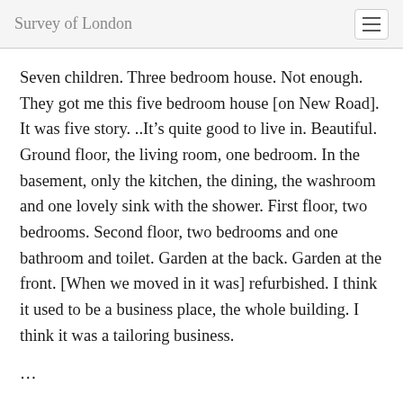Survey of London
Seven children. Three bedroom house. Not enough. They got me this five bedroom house [on New Road]. It was five story. ..It’s quite good to live in. Beautiful. Ground floor, the living room, one bedroom. In the basement, only the kitchen, the dining, the washroom and one lovely sink with the shower. First floor, two bedrooms. Second floor, two bedrooms and one bathroom and toilet. Garden at the back. Garden at the front. [When we moved in it was] refurbished. I think it used to be a business place, the whole building. I think it was a tailoring business.
…